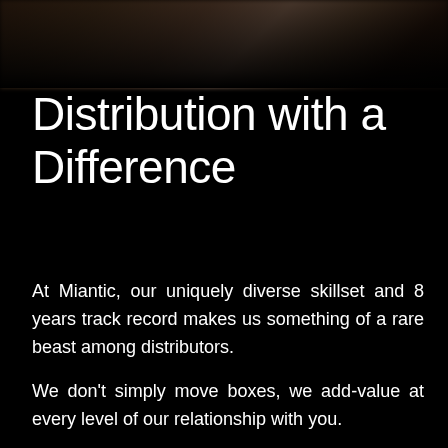[Figure (photo): Blurred dark background photo with warm brown tones at the top, fading to black]
Distribution with a Difference
At Miantic, our uniquely diverse skillset and 8 years track record makes us something of a rare beast among distributors.
We don’t simply move boxes, we add-value at every level of our relationship with you.